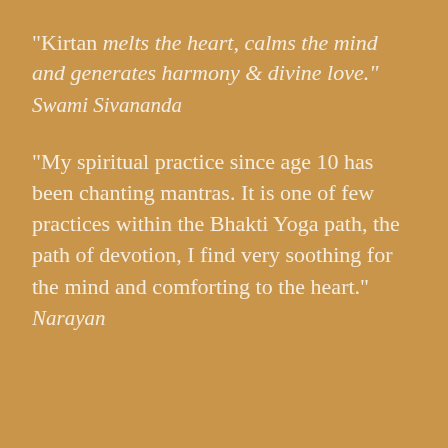"Kirtan melts the heart, calms the mind and generates harmony & divine love."
Swami Sivananda
"My spiritual practice since age 10 has been chanting mantras. It is one of few practices within the Bhakti Yoga path, the path of devotion, I find very soothing for the mind and comforting to the heart."
Narayan